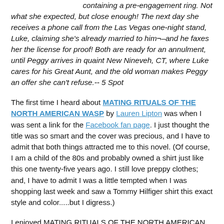containing a pre-engagement ring. Not what she expected, but close enough! The next day she receives a phone call from the Las Vegas one-night stand, Luke, claiming she's already married to him¬–and he faxes her the license for proof! Both are ready for an annulment, until Peggy arrives in quaint New Nineveh, CT, where Luke cares for his Great Aunt, and the old woman makes Peggy an offer she can't refuse.-- 5 Spot
The first time I heard about MATING RITUALS OF THE NORTH AMERICAN WASP by Lauren Lipton was when I was sent a link for the Facebook fan page. I just thought the title was so smart and the cover was precious, and I have to admit that both things attracted me to this novel. (Of course, I am a child of the 80s and probably owned a shirt just like this one twenty-five years ago. I still love preppy clothes; and, I have to admit I was a little tempted when I was shopping last week and saw a Tommy Hilfiger shirt this exact style and color.....but I digress.)
I enjoyed MATING RITUALS OF THE NORTH AMERICAN WASP very much. It is a light, fun story; and I have a feeling